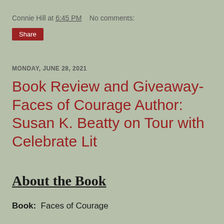Connie Hill at 6:45 PM    No comments:
Share
MONDAY, JUNE 28, 2021
Book Review and Giveaway- Faces of Courage Author: Susan K. Beatty on Tour with Celebrate Lit
About the Book
Book:  Faces of Courage